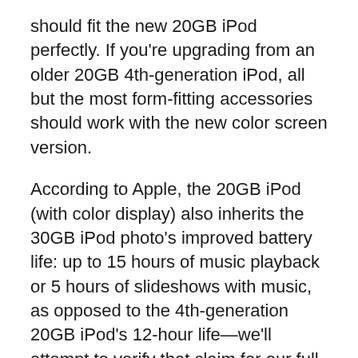should fit the new 20GB iPod perfectly. If you're upgrading from an older 20GB 4th-generation iPod, all but the most form-fitting accessories should work with the new color screen version.
According to Apple, the 20GB iPod (with color display) also inherits the 30GB iPod photo's improved battery life: up to 15 hours of music playback or 5 hours of slideshows with music, as opposed to the 4th-generation 20GB iPod's 12-hour life—we'll attempt to verify that claim for our full review. Apple's official capacity estimates state that the new 20GB model should hold up to 5,000 songs at 128kbps AAC or up to 20,000 photos, compressed via iTunes. (The specifications for the 60GB model remain the same.) You can use Apple's optional iPod Camera Connector to upload photos to both color iPods from your digital camera.